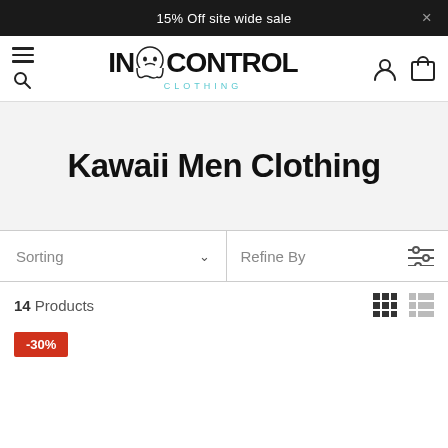15% Off site wide sale
[Figure (logo): InControl Clothing logo with dripping ghost mascot icon, teal CLOTHING subtitle]
Kawaii Men Clothing
Sorting
Refine By
14  Products
-30%